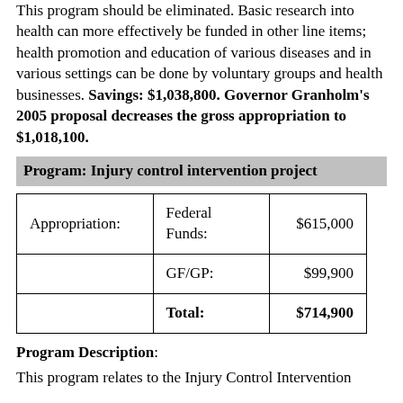This program should be eliminated. Basic research into health can more effectively be funded in other line items; health promotion and education of various diseases and in various settings can be done by voluntary groups and health businesses. Savings: $1,038,800. Governor Granholm's 2005 proposal decreases the gross appropriation to $1,018,100.
Program: Injury control intervention project
| Appropriation: | Federal Funds: | $615,000 |
| --- | --- | --- |
|  | GF/GP: | $99,900 |
|  | Total: | $714,900 |
Program Description:
This program relates to the Injury Control Intervention...